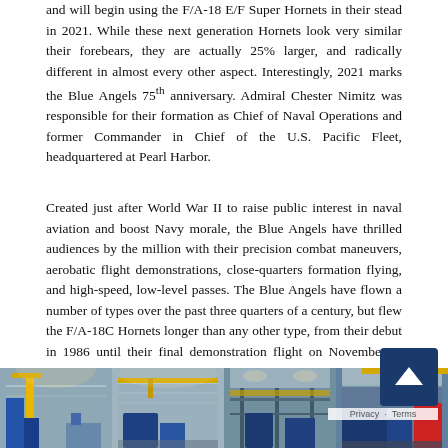and will begin using the F/A-18 E/F Super Hornets in their stead in 2021. While these next generation Hornets look very similar their forebears, they are actually 25% larger, and radically different in almost every other aspect. Interestingly, 2021 marks the Blue Angels 75th anniversary. Admiral Chester Nimitz was responsible for their formation as Chief of Naval Operations and former Commander in Chief of the U.S. Pacific Fleet, headquartered at Pearl Harbor.
Created just after World War II to raise public interest in naval aviation and boost Navy morale, the Blue Angels have thrilled audiences by the million with their precision combat maneuvers, aerobatic flight demonstrations, close-quarters formation flying, and high-speed, low-level passes. The Blue Angels have flown a number of types over the past three quarters of a century, but flew the F/A-18C Hornets longer than any other type, from their debut in 1986 until their final demonstration flight on November 4, 2020.
[Figure (photo): Strip of four photos showing industrial/hangar interior scenes with blue equipment and structures]